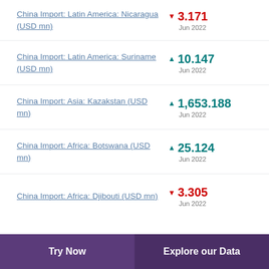China Import: Latin America: Nicaragua (USD mn) ▼ 3.171 Jun 2022
China Import: Latin America: Suriname (USD mn) ▲ 10.147 Jun 2022
China Import: Asia: Kazakstan (USD mn) ▲ 1,653.188 Jun 2022
China Import: Africa: Botswana (USD mn) ▲ 25.124 Jun 2022
China Import: Africa: Djibouti (USD mn) ▼ 3.305 Jun 2022
Try Now | Explore our Data